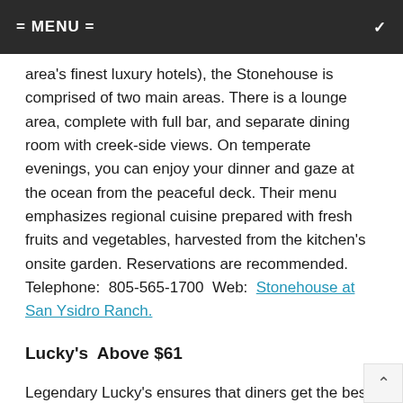= MENU =
area's finest luxury hotels), the Stonehouse is comprised of two main areas. There is a lounge area, complete with full bar, and separate dining room with creek-side views. On temperate evenings, you can enjoy your dinner and gaze at the ocean from the peaceful deck. Their menu emphasizes regional cuisine prepared with fresh fruits and vegetables, harvested from the kitchen's onsite garden. Reservations are recommended. Telephone: 805-565-1700 Web: Stonehouse at San Ysidro Ranch.
Lucky's Above $61
Legendary Lucky's ensures that diners get the best steaks and chops possible. Terrific ingredients make the difference, and everything is made in-house. Aged Midwestern beef in a variety of cuts draws rave reviews, as do racks of lamb, chops, Maine lobster, fresh fish and hefty shrimp cocktails. The stylish interior boasts black-and-white photos of classic film stars, and an